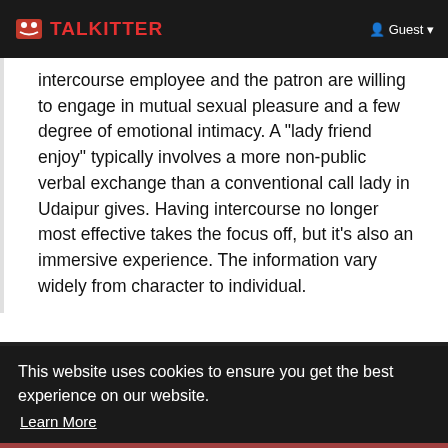TALKITTER | Guest
intercourse employee and the patron are willing to engage in mutual sexual pleasure and a few degree of emotional intimacy. A "lady friend enjoy" typically involves a more non-public verbal exchange than a conventional call lady in Udaipur gives. Having intercourse no longer most effective takes the focus off, but it's also an immersive experience. The information vary widely from character to individual.
This website uses cookies to ensure you get the best experience on our website.
Learn More
Got It!
labor. Call Girls in Udaipur agree to do foreplay is